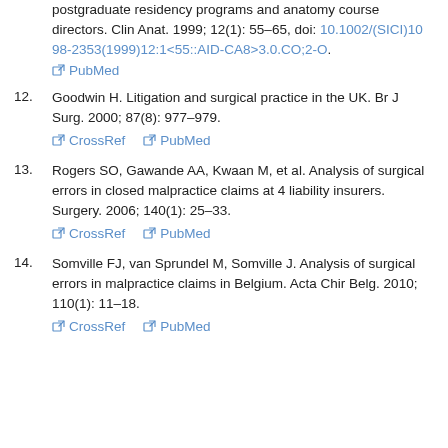postgraduate residency programs and anatomy course directors. Clin Anat. 1999; 12(1): 55–65, doi: 10.1002/(SICI)1098-2353(1999)12:1<55::AID-CA8>3.0.CO;2-O. [PubMed]
12. Goodwin H. Litigation and surgical practice in the UK. Br J Surg. 2000; 87(8): 977–979. [CrossRef] [PubMed]
13. Rogers SO, Gawande AA, Kwaan M, et al. Analysis of surgical errors in closed malpractice claims at 4 liability insurers. Surgery. 2006; 140(1): 25–33. [CrossRef] [PubMed]
14. Somville FJ, van Sprundel M, Somville J. Analysis of surgical errors in malpractice claims in Belgium. Acta Chir Belg. 2010; 110(1): 11–18. [CrossRef] [PubMed]